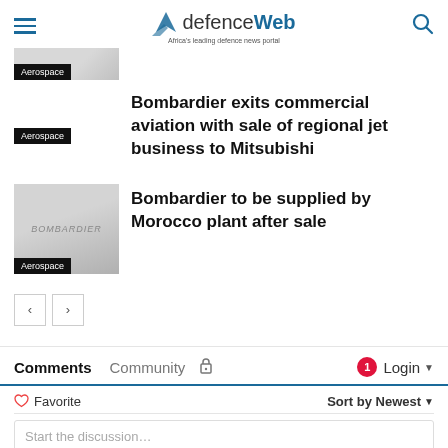defenceWeb — Africa's leading defence news portal
[Figure (screenshot): Partial article thumbnail with Aerospace badge, cropped at top]
Bombardier exits commercial aviation with sale of regional jet business to Mitsubishi
[Figure (photo): Bombardier aircraft thumbnail image with Aerospace badge]
Bombardier to be supplied by Morocco plant after sale
< > pagination buttons
Comments   Community   [lock]   1   Login ▾
♡ Favorite   Sort by Newest ▾
Start the discussion…